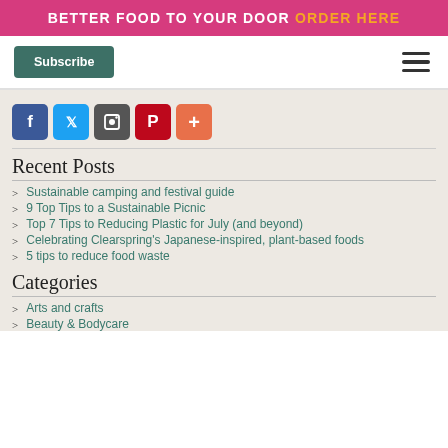BETTER FOOD TO YOUR DOOR ORDER HERE
[Figure (other): Subscribe button and hamburger menu navigation]
[Figure (other): Social sharing icons: Facebook, Twitter, Google, Pinterest, and plus button]
Recent Posts
Sustainable camping and festival guide
9 Top Tips to a Sustainable Picnic
Top 7 Tips to Reducing Plastic for July (and beyond)
Celebrating Clearspring's Japanese-inspired, plant-based foods
5 tips to reduce food waste
Categories
Arts and crafts
Beauty & Bodycare